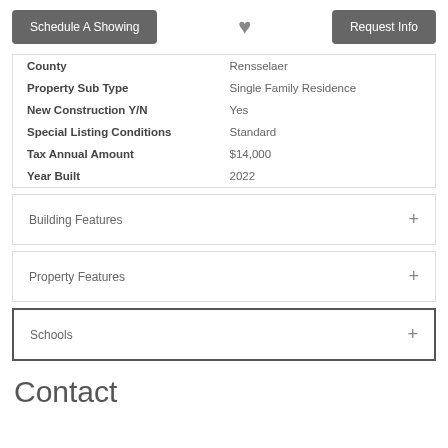Schedule A Showing | (heart) | Request Info
| County | Rensselaer |
| Property Sub Type | Single Family Residence |
| New Construction Y/N | Yes |
| Special Listing Conditions | Standard |
| Tax Annual Amount | $14,000 |
| Year Built | 2022 |
Building Features
Property Features
Schools
Contact